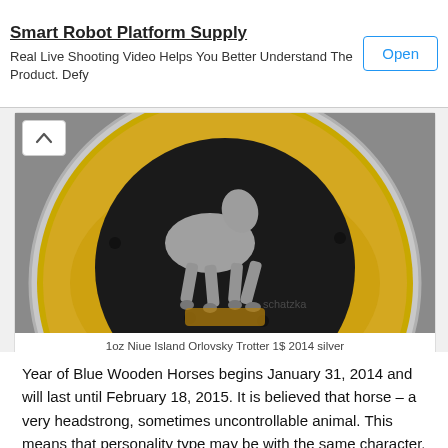Smart Robot Platform Supply
Real Live Shooting Video Helps You Better Understand The Product. Defy
[Figure (photo): Close-up photo of a silver coin with gold decoration showing a horse figure (Niue Island Orlovsky Trotter), with watermark text 'schatzka']
1oz Niue Island Orlovsky Trotter 1$ 2014 silver
Year of Blue Wooden Horses begins January 31, 2014 and will last until February 18, 2015. It is believed that horse – a very headstrong, sometimes uncontrollable animal. This means that personality type may be with the same character. Born in the Year of the Horse people usually defend their position, sometimes not attaching much importance to the opinion of others.